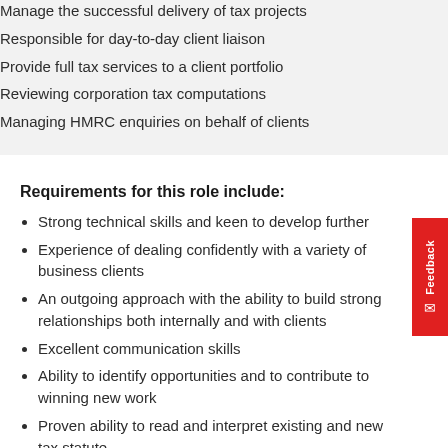Manage the successful delivery of tax projects
Responsible for day-to-day client liaison
Provide full tax services to a client portfolio
Reviewing corporation tax computations
Managing HMRC enquiries on behalf of clients
Requirements for this role include:
Strong technical skills and keen to develop further
Experience of dealing confidently with a variety of business clients
An outgoing approach with the ability to build strong relationships both internally and with clients
Excellent communication skills
Ability to identify opportunities and to contribute to winning new work
Proven ability to read and interpret existing and new tax statute